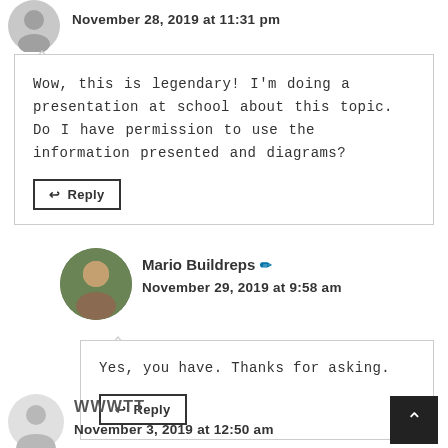November 28, 2019 at 11:31 pm
Wow, this is legendary! I'm doing a presentation at school about this topic. Do I have permission to use the information presented and diagrams?
Reply
Mario Buildreps
November 29, 2019 at 9:58 am
Yes, you have. Thanks for asking.
Reply
WWWTT
November 3, 2019 at 12:50 am